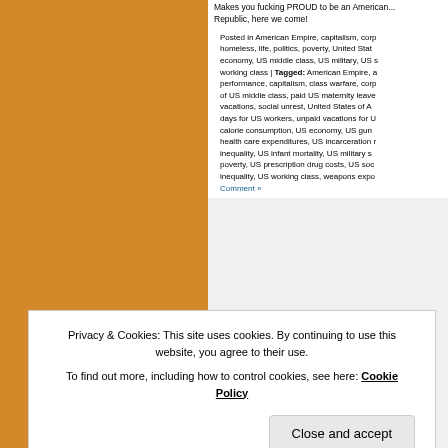Makes you fucking PROUD to be an American... Republic, here we come!
Posted in American Empire, capitalism, corp homeless, life, politics, poverty, United Stat economy, US middle class, US military, US s working class | Tagged: American Empire, a performance, capitalism, class warfare, corp of US middle class, paid US maternity leave vacations, social unrest, United States of A days for US workers, unpaid vacations for U calorie consumption, US economy, US gun health care expenditures, US incarceration inequality, US infant mortality, US military s poverty, US prescription drug costs, US soc inequality, US working class, weapons expo Comment »
Privacy & Cookies: This site uses cookies. By continuing to use this website, you agree to their use. To find out more, including how to control cookies, see here: Cookie Policy
Close and accept